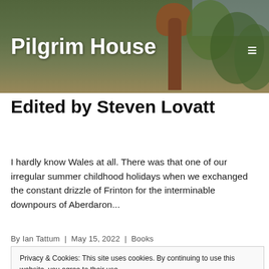Pilgrim House
Edited by Steven Lovatt
I hardly know Wales at all. There was that one of our irregular summer childhood holidays when we exchanged the constant drizzle of Frinton for the interminable downpours of Aberdaron...
By Ian Tattum | May 15, 2022 | Books
Privacy & Cookies: This site uses cookies. By continuing to use this website, you agree to their use.
To find out more, including how to control cookies, see here:
Cookie Policy
Close and accept